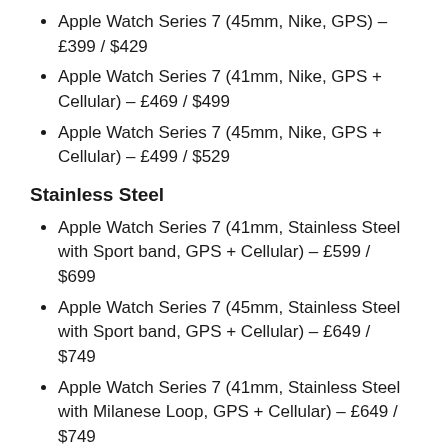Apple Watch Series 7 (45mm, Nike, GPS) – £399 / $429
Apple Watch Series 7 (41mm, Nike, GPS + Cellular) – £469 / $499
Apple Watch Series 7 (45mm, Nike, GPS + Cellular) – £499 / $529
Stainless Steel
Apple Watch Series 7 (41mm, Stainless Steel with Sport band, GPS + Cellular) – £599 / $699
Apple Watch Series 7 (45mm, Stainless Steel with Sport band, GPS + Cellular) – £649 / $749
Apple Watch Series 7 (41mm, Stainless Steel with Milanese Loop, GPS + Cellular) – £649 / $749